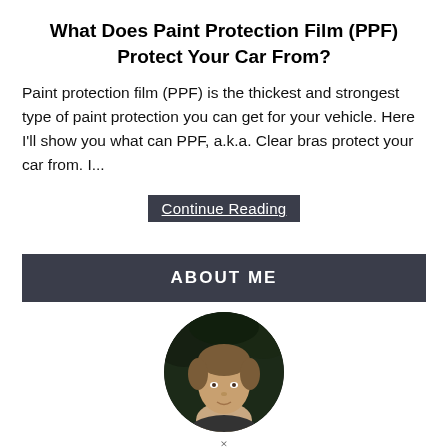What Does Paint Protection Film (PPF) Protect Your Car From?
Paint protection film (PPF) is the thickest and strongest type of paint protection you can get for your vehicle. Here I'll show you what can PPF, a.k.a. Clear bras protect your car from. I...
Continue Reading
ABOUT ME
[Figure (photo): Circular cropped profile photo of a person with short hair, outdoors with a dark green background.]